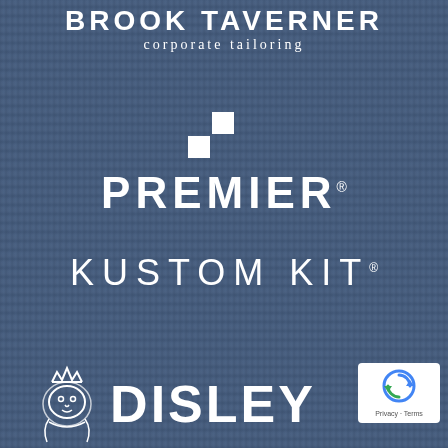BROOK TAVERNER corporate tailoring
[Figure (logo): PREMIER logo with two white squares arranged in an L pattern above the word PREMIER in white bold uppercase letters with registered trademark symbol]
[Figure (logo): KUSTOM KIT wordmark in white wide-spaced uppercase letters with registered trademark symbol]
[Figure (logo): DISLEY logo with a white lion wearing a crown icon to the left of the word DISLEY in white bold uppercase letters]
[Figure (logo): reCAPTCHA badge with circular arrow icon and Privacy - Terms text]